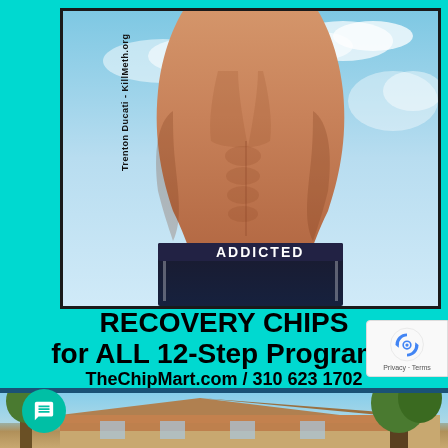[Figure (photo): Fitness model (Trenton Ducati) torso with athletic build against blue sky background, wearing black shorts with 'ADDICTED' label on waistband. Watermark text rotated vertically reads 'Trenton Ducati - KillMeth.org'.]
RECOVERY CHIPS for ALL 12-Step Programs
TheChipMart.com / 310 623 1702
[Figure (photo): Partial view of a building rooftop / house with terracotta tiles and trees against blue sky background.]